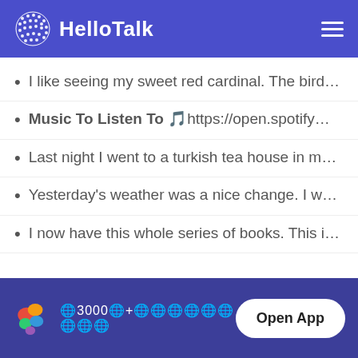HelloTalk
I like seeing my sweet red cardinal. The bird…
Music To Listen To 🎵https://open.spotify…
Last night I went to a turkish tea house in m…
Yesterday's weather was a nice change. I w…
I now have this whole series of books. This i…
Follow us on:
🌐3000🌐+🌐🌐🌐🌐🌐🌐🌐🌐🌐  Open App